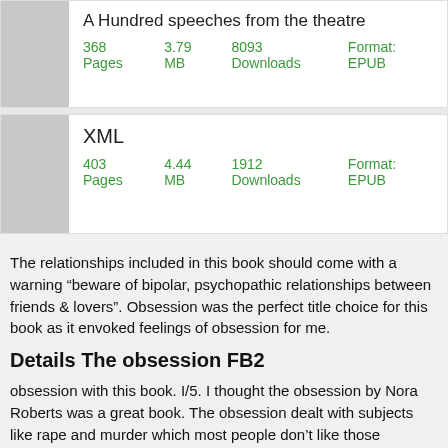A Hundred speeches from the theatre
368 Pages    3.79 MB    8093 Downloads    Format: EPUB
XML
403 Pages    4.44 MB    1912 Downloads    Format: EPUB
The relationships included in this book should come with a warning “beware of bipolar, psychopathic relationships between friends & lovers”. Obsession was the perfect title choice for this book as it envoked feelings of obsession for me.
Details The obsession FB2
obsession with this book. I/5. I thought the obsession by Nora Roberts was a great book. The obsession dealt with subjects like rape and murder which most people don’t like those subjects matters in books don’t read the book but I would say